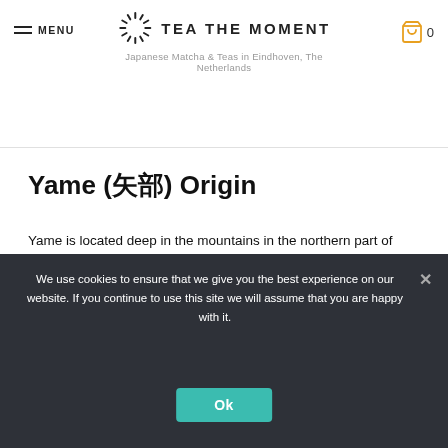MENU | TEA THE MOMENT | Japanese Matcha & Teas in Eindhoven, The Netherlands | 0
Yame (矢部) Origin
Yame is located deep in the mountains in the northern part of Kyushu Island. This mountainous land together with the unique inland climate of Yame, hot during the day and cold at night, enhances the taste of the teas.
We use cookies to ensure that we give you the best experience on our website. If you continue to use this site we will assume that you are happy with it.